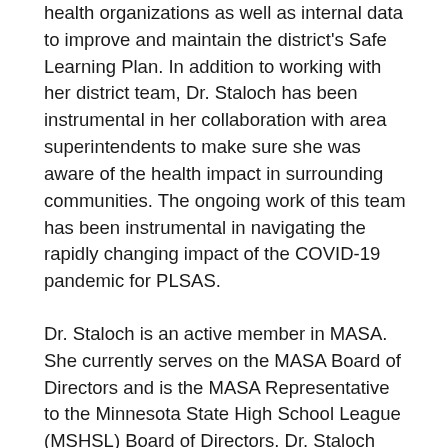health organizations as well as internal data to improve and maintain the district's Safe Learning Plan. In addition to working with her district team, Dr. Staloch has been instrumental in her collaboration with area superintendents to make sure she was aware of the health impact in surrounding communities. The ongoing work of this team has been instrumental in navigating the rapidly changing impact of the COVID-19 pandemic for PLSAS.
Dr. Staloch is an active member in MASA. She currently serves on the MASA Board of Directors and is the MASA Representative to the Minnesota State High School League (MSHSL) Board of Directors. Dr. Staloch has also been a member of the MASA Executive Development and Legislative committees.
Dr. Staloch received the 2019 MASA Region 9 Regional Administrator of Excellence Award.